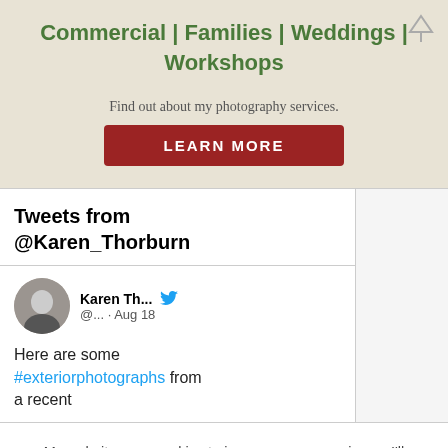Commercial | Families | Weddings | Workshops
Find out about my photography services.
LEARN MORE
Tweets from @Karen_Thorburn
Karen Th... @... · Aug 18
Here are some #exteriorphotographs from a recent
My website uses cookies to improve your experience. I'll assume you're okay with this, but you can opt-out if you wish.
Cookie settings
ACCEPT